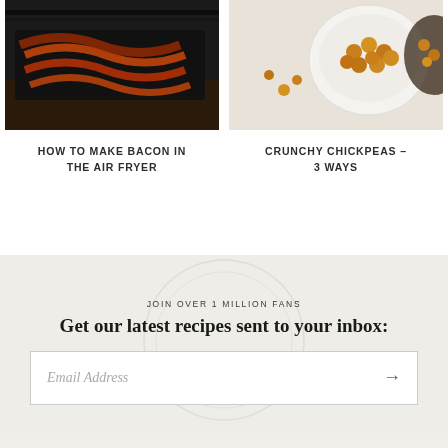[Figure (photo): Photo of bacon cooking in an air fryer basket]
HOW TO MAKE BACON IN THE AIR FRYER
[Figure (photo): Photo of crunchy chickpeas in a white bowl on a light cloth background]
CRUNCHY CHICKPEAS – 3 WAYS
JOIN OVER 1 MILLION FANS
Get our latest recipes sent to your inbox:
Email Address